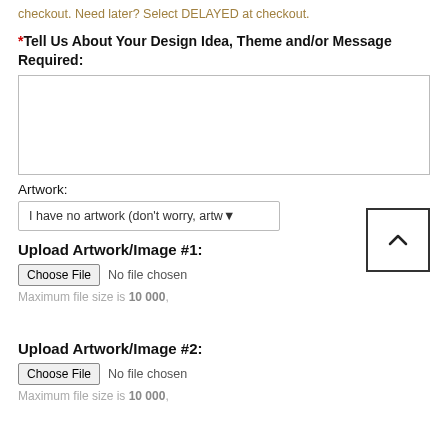checkout. Need later? Select DELAYED at checkout.
* Tell Us About Your Design Idea, Theme and/or Message Required:
[Figure (screenshot): Empty textarea input box for design description]
Artwork:
[Figure (screenshot): Dropdown select: I have no artwork (don't worry, artw...)]
[Figure (screenshot): Scroll up button (chevron up icon in a box), positioned top right]
Upload Artwork/Image #1:
[Figure (screenshot): File input: Choose File button with No file chosen text]
Maximum file size is 10 000,
Upload Artwork/Image #2:
[Figure (screenshot): File input: Choose File button with No file chosen text]
Maximum file size is 10 000,